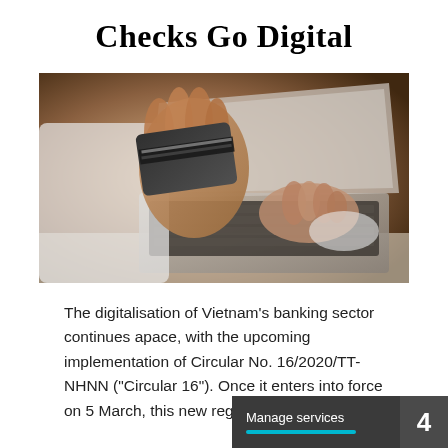Checks Go Digital
[Figure (photo): A person holding a credit/debit card in one hand while typing on a laptop keyboard with the other hand, representing digital banking and online payments.]
The digitalisation of Vietnam’s banking sector continues apace, with the upcoming implementation of Circular No. 16/2020/TT-NHNN (“Circular 16”). Once it enters into force on 5 March, this new regulation will enable
Manage services 4